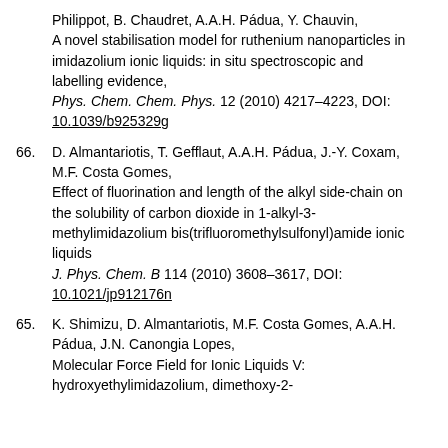Philippot, B. Chaudret, A.A.H. Pádua, Y. Chauvin, A novel stabilisation model for ruthenium nanoparticles in imidazolium ionic liquids: in situ spectroscopic and labelling evidence, Phys. Chem. Chem. Phys. 12 (2010) 4217–4223, DOI: 10.1039/b925329g
66. D. Almantariotis, T. Gefflaut, A.A.H. Pádua, J.-Y. Coxam, M.F. Costa Gomes, Effect of fluorination and length of the alkyl side-chain on the solubility of carbon dioxide in 1-alkyl-3-methylimidazolium bis(trifluoromethylsulfonyl)amide ionic liquids J. Phys. Chem. B 114 (2010) 3608–3617, DOI: 10.1021/jp912176n
65. K. Shimizu, D. Almantariotis, M.F. Costa Gomes, A.A.H. Pádua, J.N. Canongia Lopes, Molecular Force Field for Ionic Liquids V: hydroxyethylimidazolium, dimethoxy-2-